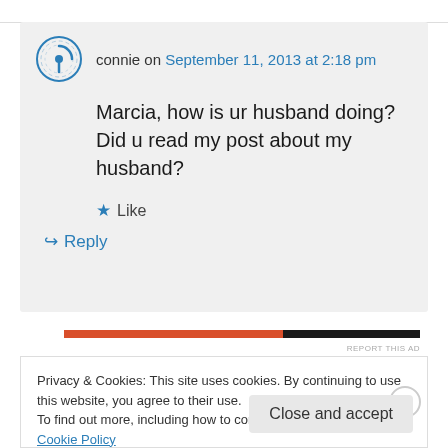connie on September 11, 2013 at 2:18 pm
Marcia, how is ur husband doing? Did u read my post about my husband?
★ Like
↪ Reply
[Figure (other): Horizontal advertisement bar with orange and black segments]
REPORT THIS AD
Privacy & Cookies: This site uses cookies. By continuing to use this website, you agree to their use.
To find out more, including how to control cookies, see here: Cookie Policy
Close and accept